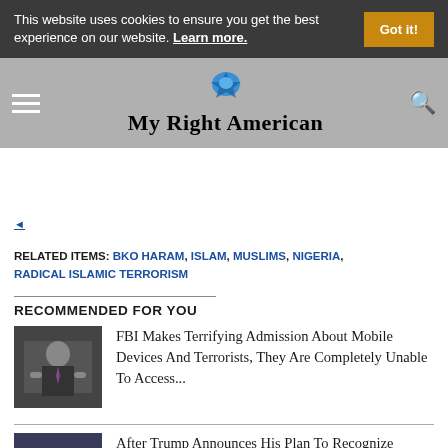This website uses cookies to ensure you get the best experience on our website. Learn more. Got it!
[Figure (logo): My Right American website logo with blue star/eagle icon and site name text]
RELATED ITEMS: BKO HARAM, ISLAM, MUSLIMS, NIGERIA, RADICAL ISLAMIC TERRORISM
RECOMMENDED FOR YOU
[Figure (photo): Man in suit gesturing, appears to be FBI director]
FBI Makes Terrifying Admission About Mobile Devices And Terrorists, They Are Completely Unable To Access...
[Figure (photo): Crowd scene with fire and flags, protest imagery]
After Trump Announces His Plan To Recognize Jerusalem As Capital Of Israel, Hamas Plans 'Day Of Rage'